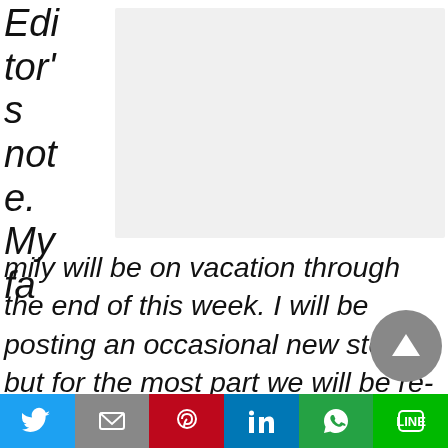Editor's note. My fa
[Figure (other): Gray background placeholder image box]
mily will be on vacation through the end of this week. I will be posting an occasional new story, but for the most part we will be re-posting columns that ran over the last year. Many will be strictly educational while some will about remind us of notable victories this legislative cycle.
Twitter | Gmail | Pinterest | LinkedIn | WhatsApp | LINE